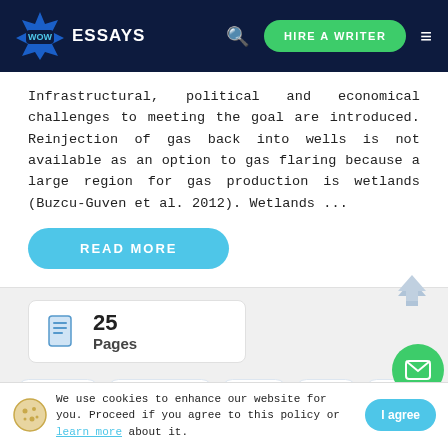WOW ESSAYS — HIRE A WRITER
Infrastructural, political and economical challenges to meeting the goal are introduced. Reinjection of gas back into wells is not available as an option to gas flaring because a large region for gas production is wetlands (Buzcu-Guven et al. 2012). Wetlands ...
READ MORE
25 Pages
BUSINESS
ENVIRONMENT
NATURE
WORLD
OIL
RUSSIA
PRODUCTS
NIGERIA
GAS
NATURAL G...
We use cookies to enhance our website for you. Proceed if you agree to this policy or learn more about it.